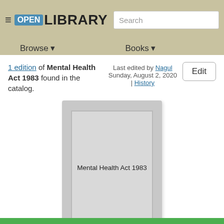Open Library — Browse / Books navigation with Search
1 edition of Mental Health Act 1983 found in the catalog.
Last edited by Nagul
Sunday, August 2, 2020 | History
Edit
[Figure (illustration): Placeholder book cover showing gray box with text 'Mental Health Act 1983' centered inside a bordered inner rectangle]